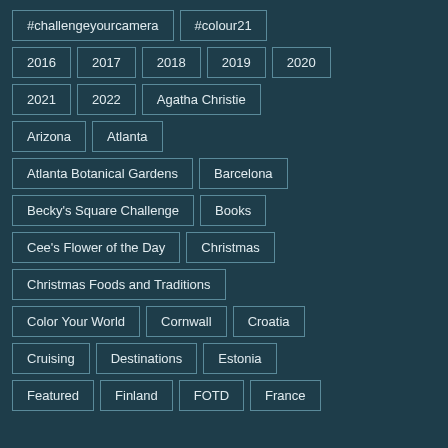#challengeyourcamera
#colour21
2016
2017
2018
2019
2020
2021
2022
Agatha Christie
Arizona
Atlanta
Atlanta Botanical Gardens
Barcelona
Becky's Square Challenge
Books
Cee's Flower of the Day
Christmas
Christmas Foods and Traditions
Color Your World
Cornwall
Croatia
Cruising
Destinations
Estonia
Featured
Finland
FOTD
France